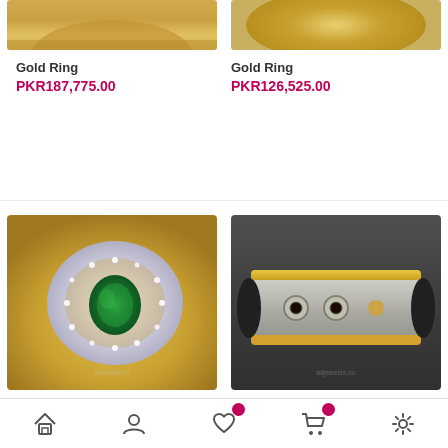[Figure (photo): Partial top view of a gold ring on white/beige background]
Gold Ring
PKR187,775.00
[Figure (photo): Partial top view of a gold coin on beige background]
Gold Ring
PKR126,525.00
[Figure (photo): Gold ring with large emerald green center stone surrounded by halo of white diamonds, set on gold display holder]
[Figure (photo): Wide band silver/white gold ring with round embellishments on dark background]
[Figure (other): Bottom navigation bar with home, profile, wishlist (with badge), cart (with badge), and settings icons]